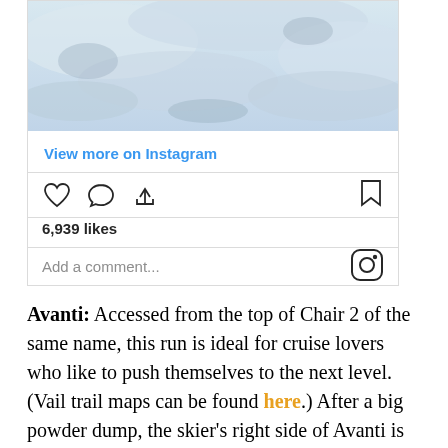[Figure (photo): Aerial/overhead view of snowy mountain or ski terrain, showing snow and clouds/terrain from above.]
View more on Instagram
[Figure (other): Instagram action bar with heart (like), comment bubble, share icons on the left, and bookmark icon on the right.]
6,939 likes
Add a comment...
Avanti: Accessed from the top of Chair 2 of the same name, this run is ideal for cruise lovers who like to push themselves to the next level. (Vail trail maps can be found here.) After a big powder dump, the skier's right side of Avanti is often left ungroomed and the entire run swoops over a series of rollers, offering a serious opportunity to catch air (or yard sale) if you're going fast enough. About halfway down, the run turns black over a steep face before flattening out as it flows across a cross trail